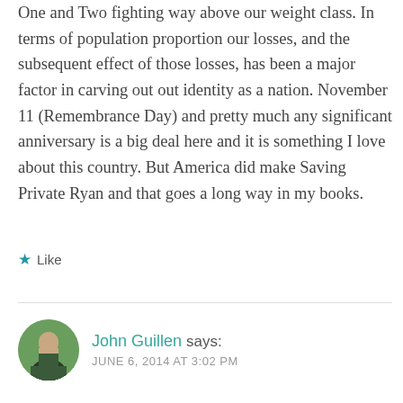One and Two fighting way above our weight class. In terms of population proportion our losses, and the subsequent effect of those losses, has been a major factor in carving out out identity as a nation. November 11 (Remembrance Day) and pretty much any significant anniversary is a big deal here and it is something I love about this country. But America did make Saving Private Ryan and that goes a long way in my books.
★ Like
John Guillen says: JUNE 6, 2014 AT 3:02 PM